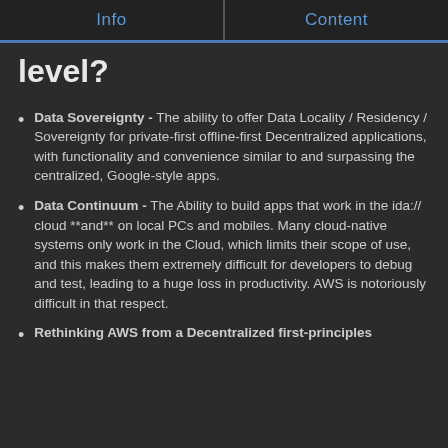Info | Content
level?
Data Sovereignty - The ability to offer Data Locality / Residency / Sovereignty for private-first offline-first Decentralized applications, with functionality and convenience similar to and surpassing the centralized, Google-style apps.
Data Continuum - The Ability to build apps that work in the ida:// cloud **and** on local PCs and mobiles. Many cloud-native systems only work in the Cloud, which limits their scope of use, and this makes them extremely difficult for developers to debug and test, leading to a huge loss in productivity. AWS is notoriously difficult in that respect.
Rethinking AWS from a Decentralized first-principles